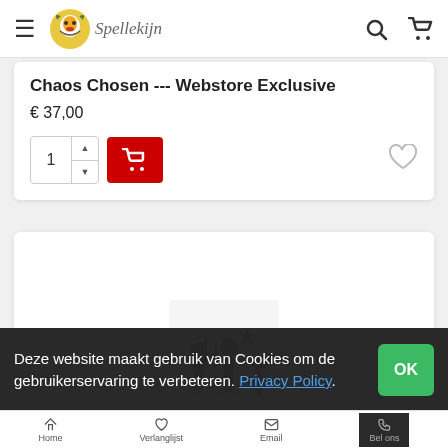Spellekijn — website header with logo, search and cart icons
Chaos Chosen --- Webstore Exclusive
€ 37,00
[Figure (screenshot): Add to cart control with quantity selector showing '1', up/down arrows, red cart button, and a heart wishlist icon on the right]
[Figure (photo): Warhammer miniatures — Chaos Chosen figures, partially visible at bottom of product card]
Deze website maakt gebruik van Cookies om de gebruikerservaring te verbeteren. Privacy Policy.
Home  Verlanglijst  Email  Bel ons